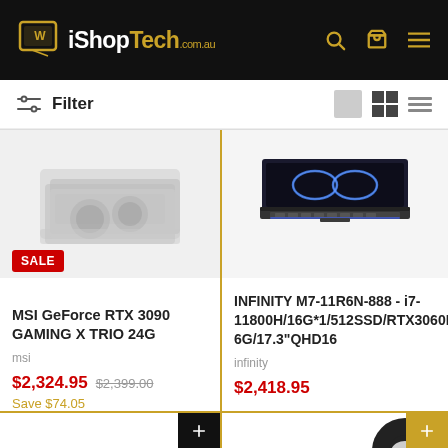[Figure (logo): iShopTech.com.au logo on black header background with search, cart, and menu icons]
Filter
[Figure (photo): MSI GeForce RTX 3090 GPU product image with SALE badge]
MSI GeForce RTX 3090 GAMING X TRIO 24G
msi
$2,324.95  $2,399.00  Save $74.05
[Figure (photo): INFINITY M7 gaming laptop product image showing infinity symbol on screen]
INFINITY M7-11R6N-888 - i7-11800H/16G*1/512SSD/RTX3060P 6G/17.3"QHD16
infinity
$2,418.95